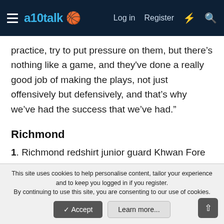a10talk — Log in  Register
practice, try to put pressure on them, but there’s nothing like a game, and they've done a really good job of making the plays, not just offensively but defensively, and that’s why we’ve had the success that we’ve had.”
Richmond
1. Richmond redshirt junior guard Khwan Fore set a career-high in this game with his 25 points, best his previous best by one point.
This site uses cookies to help personalise content, tailor your experience and to keep you logged in if you register.
By continuing to use this site, you are consenting to our use of cookies.